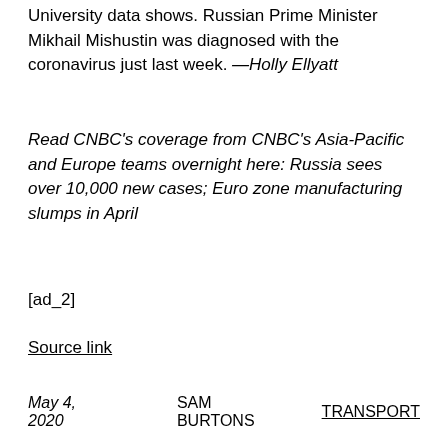University data shows. Russian Prime Minister Mikhail Mishustin was diagnosed with the coronavirus just last week. —Holly Ellyatt
Read CNBC's coverage from CNBC's Asia-Pacific and Europe teams overnight here: Russia sees over 10,000 new cases; Euro zone manufacturing slumps in April
[ad_2]
Source link
May 4, 2020   SAM BURTONS   TRANSPORT